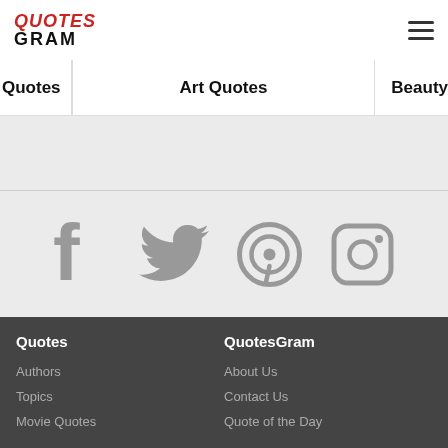QuotesGram
Quotes | Art Quotes | Beauty
[Figure (logo): QuotesGram logo with QUOTES in red italic and GRAM in black bold]
Social media icons: Facebook, Twitter, Pinterest, Instagram
Quotes
Authors
Topics
Movie Quotes
QuotesGram
About Us
Contact Us
Quote of the Day